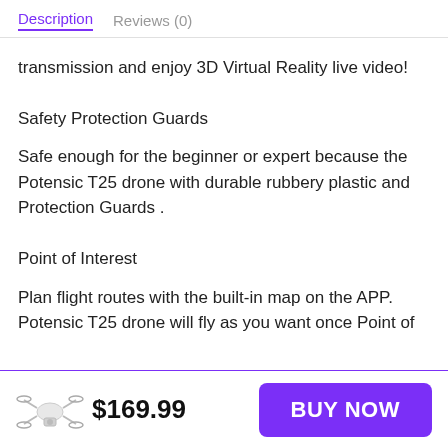Description   Reviews (0)
transmission and enjoy 3D Virtual Reality live video!
Safety Protection Guards
Safe enough for the beginner or expert because the Potensic T25 drone with durable rubbery plastic and Protection Guards .
Point of Interest
Plan flight routes with the built-in map on the APP. Potensic T25 drone will fly as you want once Point of
$169.99
BUY NOW